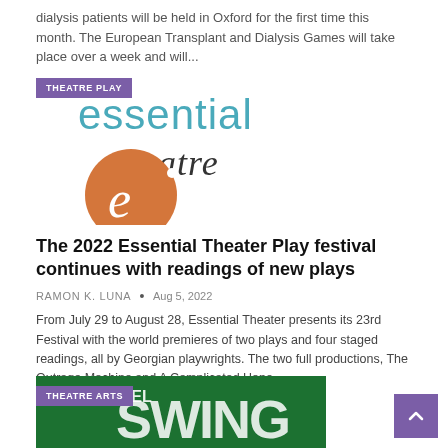dialysis patients will be held in Oxford for the first time this month. The European Transplant and Dialysis Games will take place over a week and will...
[Figure (logo): Essential Theatre logo with purple 'THEATRE PLAY' badge overlay. Logo shows 'essential' in teal sans-serif and 'theatre' in script font, with an orange circle containing a cursive 'e'.]
The 2022 Essential Theater Play festival continues with readings of new plays
RAMON K. LUNA • Aug 5, 2022
From July 29 to August 28, Essential Theater presents its 23rd Festival with the world premieres of two plays and four staged readings, all by Georgian playwrights. The two full productions, The Outrage Machine and A Complicated Hope,...
[Figure (photo): Theatre Arts section image with green/dark background and partial text 'SWING', with purple 'THEATRE ARTS' badge overlay.]